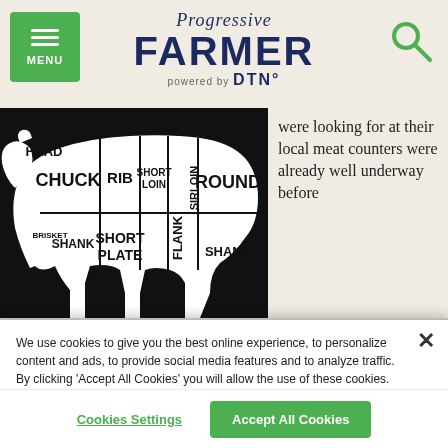Progressive FARMER powered by DTN
[Figure (illustration): Beef cuts diagram showing a black silhouette of a cow with labeled sections: HEAD, CHUCK, RIB, SHORT LOIN, SIRLOIN, ROUND (top row), BRISKET, SHANK, SHORT PLATE, FLANK, SHANK (bottom row), rendered in black and white]
were looking for at their local meat counters were already well underway before
We use cookies to give you the best online experience, to personalize content and ads, to provide social media features and to analyze traffic. By clicking ‘Accept All Cookies’ you will allow the use of these cookies. Your settings can be changed, including withdrawing your consent at any time, by clicking ‘Cookie Settings’. Find out more on how we and third parties use cookies in our  Cookie Policy
Cookies Settings
Accept All Cookies